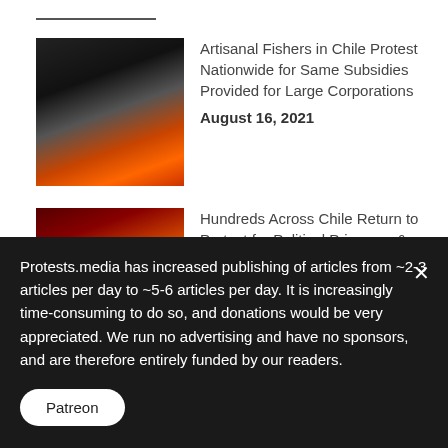Artisanal Fishers in Chile Protest Nationwide for Same Subsidies Provided for Large Corporations — August 16, 2021
Hundreds Across Chile Return to Protest for Political Prisoners & Against Dominga Mine — August 13, 2021
Thousands Across Chile March Against Environmentally…
Protests.media has increased publishing of articles from ~2-3 articles per day to ~5-6 articles per day. It is increasingly time-consuming to do so, and donations would be very appreciated. We run no advertising and have no sponsors, and are therefore entirely funded by our readers.
Patreon